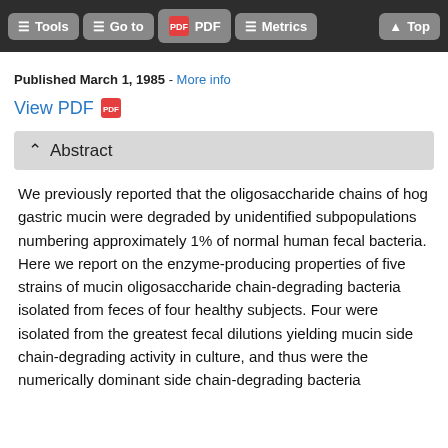Tools  Go to  PDF  Metrics  Top
Published March 1, 1985 · More info
View PDF
Abstract
We previously reported that the oligosaccharide chains of hog gastric mucin were degraded by unidentified subpopulations numbering approximately 1% of normal human fecal bacteria. Here we report on the enzyme-producing properties of five strains of mucin oligosaccharide chain-degrading bacteria isolated from feces of four healthy subjects. Four were isolated from the greatest fecal dilutions yielding mucin side chain-degrading activity in culture, and thus were the numerically dominant side chain-degrading bacteria